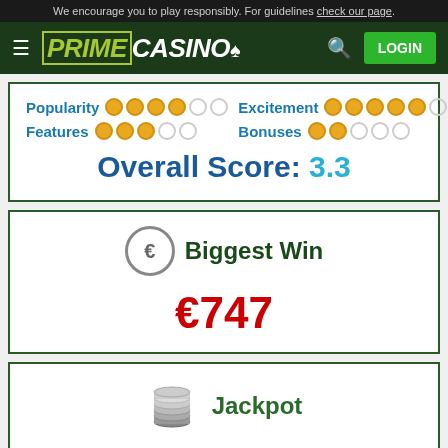We encourage you to play responsibly. For guidelines check our page.
[Figure (logo): Prime Casino logo with hamburger menu, search icon, and LOGIN button on dark green background]
Popularity ●●●●○○  Excitement ●●●●●○  Features ●●●○○  Bonuses ●●○○○
Overall Score: 3.3
Biggest Win
€747
Jackpot